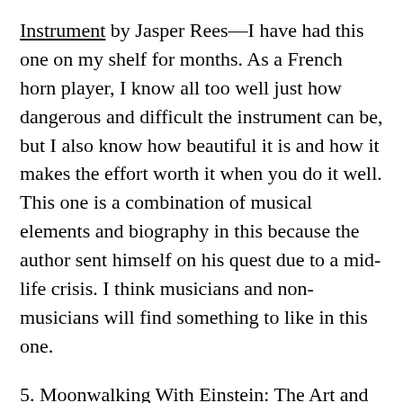Instrument by Jasper Rees—I have had this one on my shelf for months. As a French horn player, I know all too well just how dangerous and difficult the instrument can be, but I also know how beautiful it is and how it makes the effort worth it when you do it well. This one is a combination of musical elements and biography in this because the author sent himself on his quest due to a mid-life crisis. I think musicians and non-musicians will find something to like in this one.
5. Moonwalking With Einstein: The Art and Science of Remembering Everything by Joshua Foer—This is a non-fiction read about one man's study of the science and art of memory. The back matter sums it